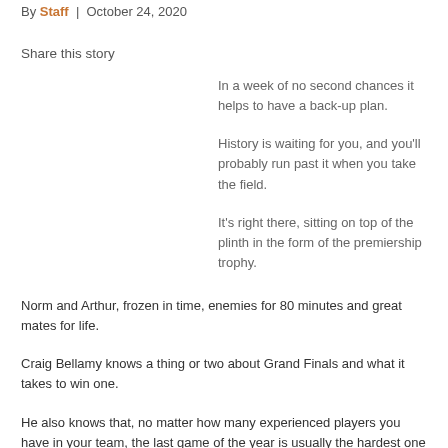By Staff | October 24, 2020
Share this story
In a week of no second chances it helps to have a back-up plan.
History is waiting for you, and you'll probably run past it when you take the field.
It's right there, sitting on top of the plinth in the form of the premiership trophy.
Norm and Arthur, frozen in time, enemies for 80 minutes and great mates for life.
Craig Bellamy knows a thing or two about Grand Finals and what it takes to win one.
He also knows that, no matter how many experienced players you have in your team, the last game of the year is usually the hardest one to win.